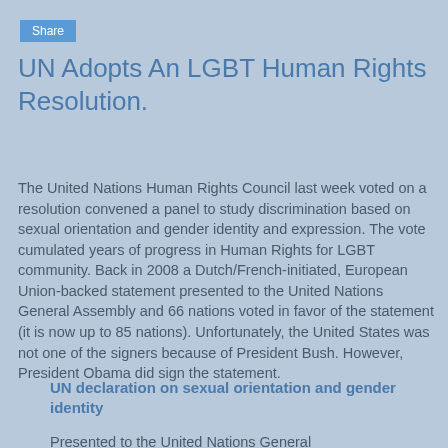Share
UN Adopts An LGBT Human Rights Resolution.
The United Nations Human Rights Council last week voted on a resolution convened a panel to study discrimination based on sexual orientation and gender identity and expression. The vote cumulated years of progress in Human Rights for LGBT community. Back in 2008 a Dutch/French-initiated, European Union-backed statement presented to the United Nations General Assembly and 66 nations voted in favor of the statement (it is now up to 85 nations). Unfortunately, the United States was not one of the signers because of President Bush. However, President Obama did sign the statement.
UN declaration on sexual orientation and gender identity
Presented to the United Nations General